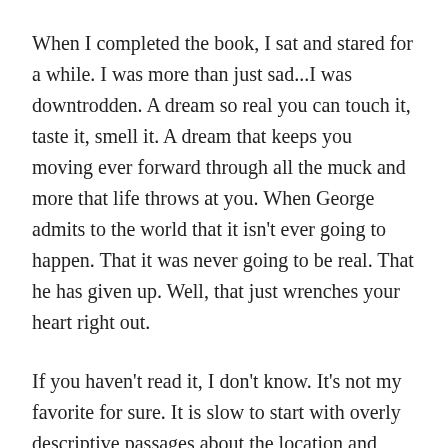When I completed the book, I sat and stared for a while. I was more than just sad...I was downtrodden. A dream so real you can touch it, taste it, smell it. A dream that keeps you moving ever forward through all the muck and more that life throws at you. When George admits to the world that it isn't ever going to happen. That it was never going to be real. That he has given up. Well, that just wrenches your heart right out.
If you haven't read it, I don't know. It's not my favorite for sure. It is slow to start with overly descriptive passages about the location and scenery. It took me about half way through to figure out what it was even about. The characters are not likable except for perhaps George and Slim, the second in command. It does make you think